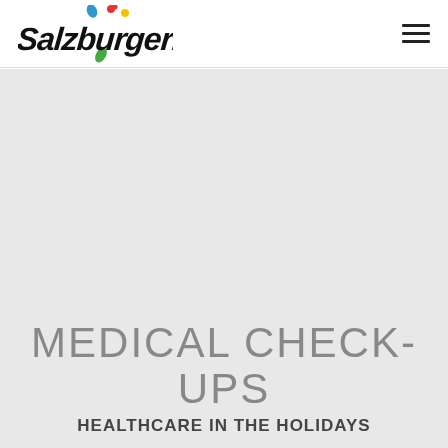SalzburgerLand
MEDICAL CHECK-UPS
HEALTHCARE IN THE HOLIDAYS